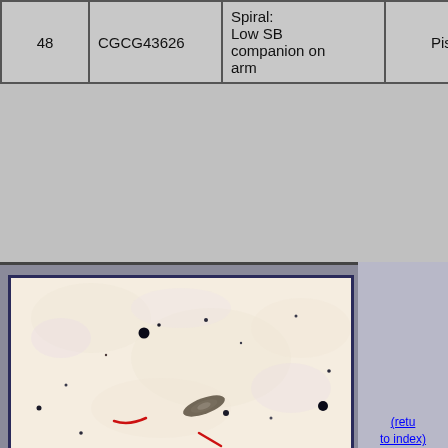| 48 | CGCG43626 | Spiral: Low SB companion on arm | Pisces | 10/01/202... |
| --- | --- | --- | --- | --- |
| 48 | CGCG43626 | Spiral:
Low SB companion on arm | Pisces | 10/01/202 |
[Figure (photo): Astronomical image of galaxy CGCG43626 showing a spiral galaxy with low surface brightness companion on arm, with red annotation lines marking features. Background is pale cream/beige with several stars and the galaxy visible.]
(return to index)